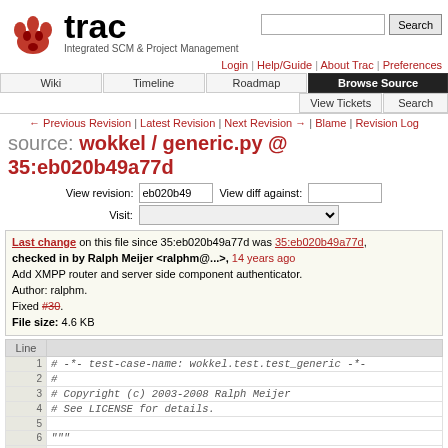[Figure (logo): Trac logo with red paw print and text 'trac - Integrated SCM & Project Management']
Login | Help/Guide | About Trac | Preferences
Wiki | Timeline | Roadmap | Browse Source | View Tickets | Search
← Previous Revision | Latest Revision | Next Revision → | Blame | Revision Log
source: wokkel / generic.py @ 35:eb020b49a77d
View revision: eb020b49  View diff against:
Visit:
Last change on this file since 35:eb020b49a77d was 35:eb020b49a77d, checked in by Ralph Meijer <ralphm@...>, 14 years ago
Add XMPP router and server side component authenticator.
Author: ralphm.
Fixed #30.
File size: 4.6 KB
| Line |  |
| --- | --- |
| 1 | # -*- test-case-name: wokkel.test.test_generic -*- |
| 2 | # |
| 3 | # Copyright (c) 2003-2008 Ralph Meijer |
| 4 | # See LICENSE for details. |
| 5 |  |
| 6 | """ |
| 7 | Generic XMPP protocol helpers. |
| 8 | """ |